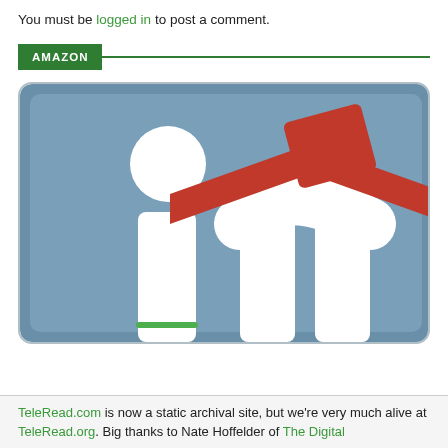You must be logged in to post a comment.
AMAZON
[Figure (illustration): LinkedIn-style logo with a red graduation cap on a blue-grey rounded square background, showing stylized white 'in' letters.]
TeleRead.com is now a static archival site, but we're very much alive at TeleRead.org. Big thanks to Nate Hoffelder of The Digital